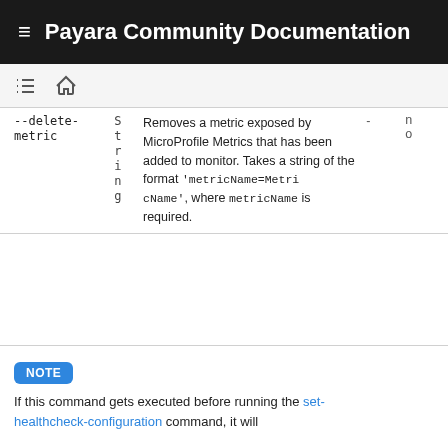Payara Community Documentation
| Option | Type | Description | Default | Mand. |
| --- | --- | --- | --- | --- |
| --delete-metric | String | Removes a metric exposed by MicroProfile Metrics that has been added to monitor. Takes a string of the format 'metricName=MetricName', where metricName is required. | - | no |
NOTE
If this command gets executed before running the set-healthcheck-configuration command, it will